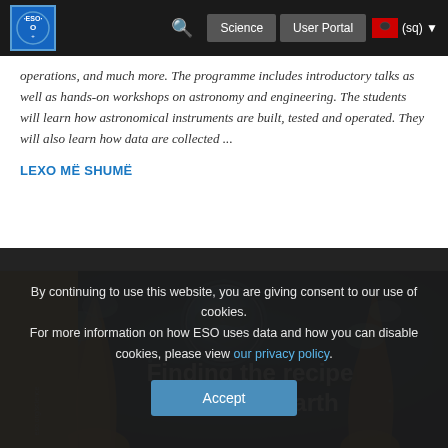ESO Science User Portal (sq)
operations, and much more. The programme includes introductory talks as well as hands-on workshops on astronomy and engineering. The students will learn how astronomical instruments are built, tested and operated. They will also learn how data are collected ...
LEXO MË SHUMË
[Figure (photo): Artistic image showing a planet Earth-like sphere surrounded by hydrothermal vent-like structures with text overlay 'Finding the recipe for life on Earth']
By continuing to use this website, you are giving consent to our use of cookies.
For more information on how ESO uses data and how you can disable cookies, please view our privacy policy.
Accept